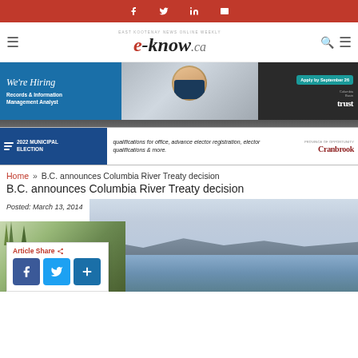Social share bar: Facebook, Twitter, LinkedIn, Email
[Figure (logo): e-know.ca website logo with tagline 'East Kootenay News Online Weekly']
[Figure (photo): Columbia Basin Trust hiring advertisement - We're Hiring, Records & Information Management Analyst, Apply by September 26]
[Figure (infographic): 2022 Municipal Election advertisement for City of Cranbrook - qualifications for office, advance elector registration, elector qualifications & more.]
Home » B.C. announces Columbia River Treaty decision
Posted: March 13, 2014
[Figure (photo): Scenic photo of Columbia River reservoir with mountains and sky in background]
Article Share